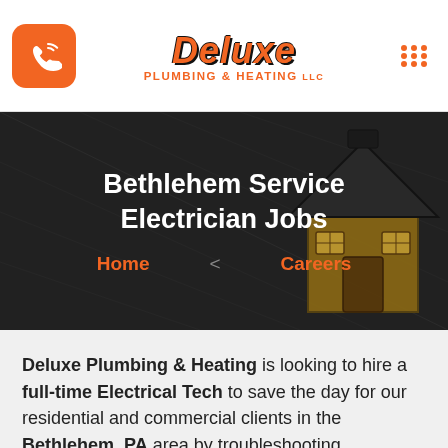Deluxe Plumbing & Heating [logo] [phone button] [menu button]
Bethlehem Service Electrician Jobs
Home  Careers
Deluxe Plumbing & Heating is looking to hire a full-time Electrical Tech to save the day for our residential and commercial clients in the Bethlehem, PA area by troubleshooting, diagnosing, and repairing their electric systems. You will also tackle the electrical work on HVAC installations. Are you an electrician who is developing your troubleshooting superpowers and looking for the right company to build a successful, long-term